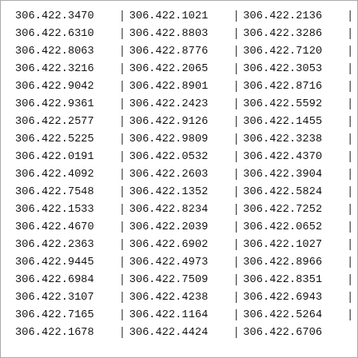| 306.422.3470 | 306.422.1021 | 306.422.2136 |
| 306.422.6310 | 306.422.8803 | 306.422.3286 |
| 306.422.8063 | 306.422.8776 | 306.422.7120 |
| 306.422.3216 | 306.422.2065 | 306.422.3053 |
| 306.422.9042 | 306.422.8901 | 306.422.8716 |
| 306.422.9361 | 306.422.2423 | 306.422.5592 |
| 306.422.2577 | 306.422.9126 | 306.422.1455 |
| 306.422.5225 | 306.422.9809 | 306.422.3238 |
| 306.422.0191 | 306.422.0532 | 306.422.4370 |
| 306.422.4092 | 306.422.2603 | 306.422.3904 |
| 306.422.7548 | 306.422.1352 | 306.422.5824 |
| 306.422.1533 | 306.422.8234 | 306.422.7252 |
| 306.422.4670 | 306.422.2039 | 306.422.0652 |
| 306.422.2363 | 306.422.6902 | 306.422.1027 |
| 306.422.9445 | 306.422.4973 | 306.422.8966 |
| 306.422.6984 | 306.422.7509 | 306.422.8351 |
| 306.422.3107 | 306.422.4238 | 306.422.6943 |
| 306.422.7165 | 306.422.1164 | 306.422.5264 |
| 306.422.1678 | 306.422.4424 | 306.422.6706 |